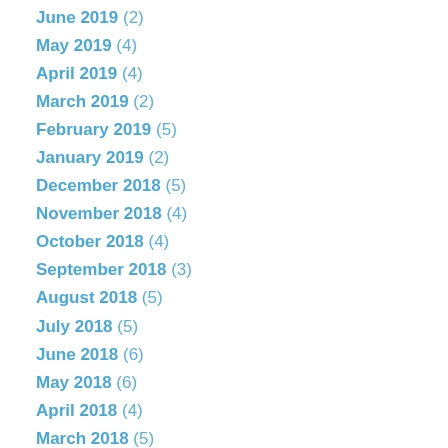June 2019 (2)
May 2019 (4)
April 2019 (4)
March 2019 (2)
February 2019 (5)
January 2019 (2)
December 2018 (5)
November 2018 (4)
October 2018 (4)
September 2018 (3)
August 2018 (5)
July 2018 (5)
June 2018 (6)
May 2018 (6)
April 2018 (4)
March 2018 (5)
February 2018 (4)
January 2018 (4)
December 2017 (4)
November 2017 (6)